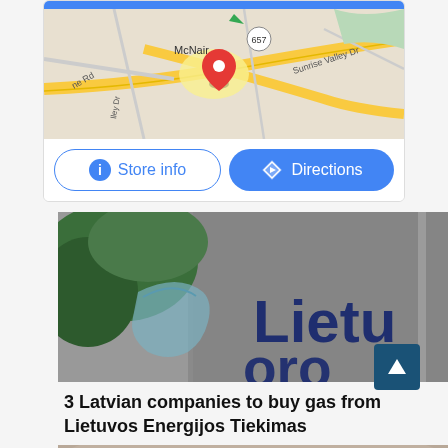[Figure (map): Google Maps card showing McNair area with route 657 and Sunrise Valley Dr, with a red location pin marker. Blue header bar at top.]
[Figure (photo): Photo of a building exterior with brick facade, green shrubs/ivy on the left, and partial text reading 'Lietu' (Lietuvos) on a sign, with a curved metallic structure visible.]
3 Latvian companies to buy gas from Lietuvos Energijos Tiekimas
[Figure (photo): Partial photo of what appears to be a curved brown/tan structure, possibly a stadium or large building roof.]